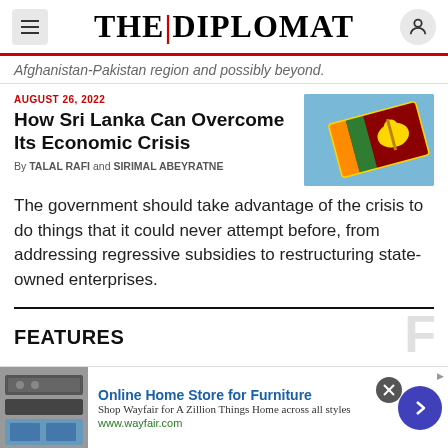THE DIPLOMAT
Afghanistan-Pakistan region and possibly beyond.
AUGUST 26, 2022
How Sri Lanka Can Overcome Its Economic Crisis
By TALAL RAFI and SIRIMAL ABEYRATNE
[Figure (photo): Sri Lanka national flag waving against blue sky]
The government should take advantage of the crisis to do things that it could never attempt before, from addressing regressive subsidies to restructuring state-owned enterprises.
FEATURES
Online Home Store for Furniture
Shop Wayfair for A Zillion Things Home across all styles
www.wayfair.com